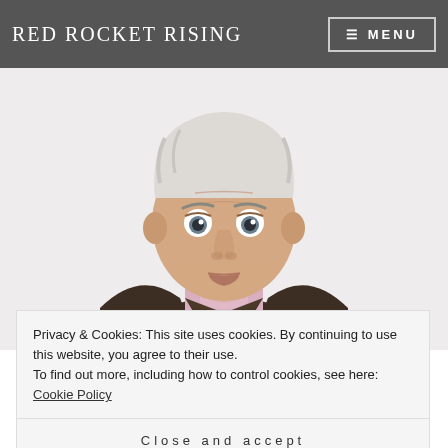Red Rocket Rising
[Figure (photo): Elderly man with white hair, wide eyes, wearing a dark brown blazer over a light pink shirt, photographed against a light background]
Privacy & Cookies: This site uses cookies. By continuing to use this website, you agree to their use.
To find out more, including how to control cookies, see here: Cookie Policy
Close and accept